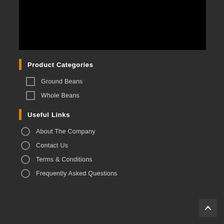[Figure (other): Black banner image at top of page]
Product Categories
Ground Beans
Whole Beans
Useful Links
About The Company
Contact Us
Terms & Conditions
Frequently Asked Questions